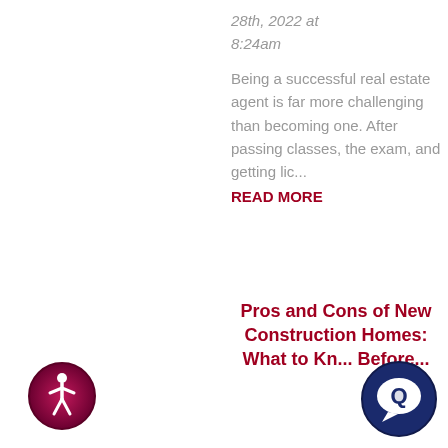28th, 2022 at 8:24am
Being a successful real estate agent is far more challenging than becoming one. After passing classes, the exam, and getting lic...
READ MORE
Pros and Cons of New Construction Homes: What to Kn... Before...
[Figure (logo): Accessibility icon — circular dark red/maroon badge with white person figure in a wheelchair (universal accessibility symbol)]
[Figure (logo): Chat bubble icon — circular dark teal/navy badge with white speech bubble symbol]